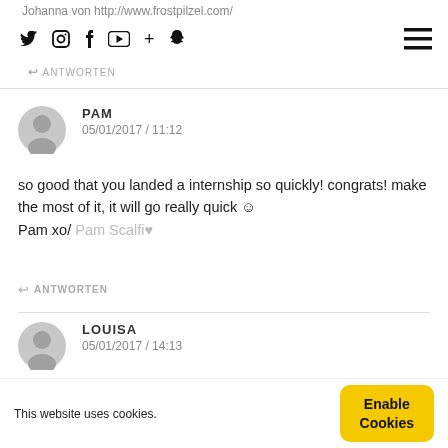Johanna von http://www.frostpilzel.com/
Social icons: Twitter, Instagram, Facebook, YouTube, +, Snapchat
↩ ANTWORTEN
PAM
05/01/2017 / 11:12
so good that you landed a internship so quickly! congrats! make the most of it, it will go really quick 🙂
Pam xo/ Pam Scalfi♥
↩ ANTWORTEN
LOUISA
05/01/2017 / 14:13
Bin so...
This website uses cookies.
Enable Cookies